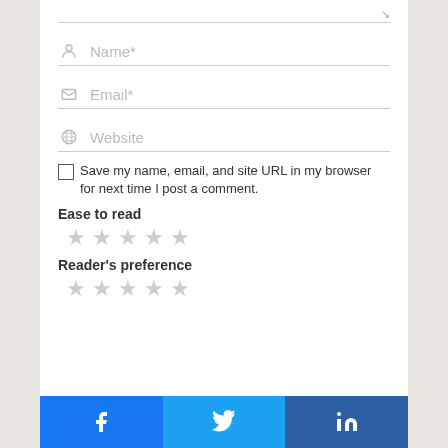[Figure (screenshot): Comment form with Name, Email, Website fields, checkbox, star ratings for Ease to read and Reader's preference, and social share buttons (Facebook, Twitter, LinkedIn)]
Name*
Email*
Website
Save my name, email, and site URL in my browser for next time I post a comment.
Ease to read
Reader's preference